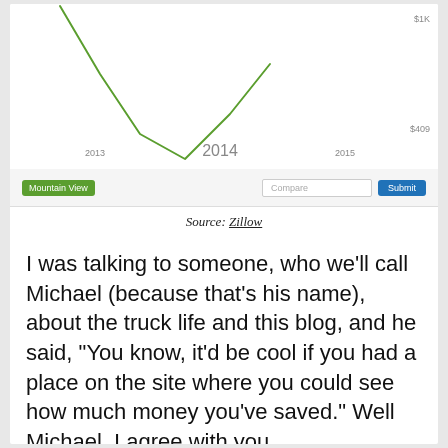[Figure (line-chart): Partial line chart visible at top of page showing a V-shaped green line. X-axis labels: 2013, 2014, 2015. Y-axis labels: $1K, $409. Location data from Zillow for Mountain View.]
Source: Zillow
I was talking to someone, who we'll call Michael (because that's his name), about the truck life and this blog, and he said, "You know, it'd be cool if you had a place on the site where you could see how much money you've saved." Well Michael, I agree with you wholeheartedly, so starting today, there'll be a live-